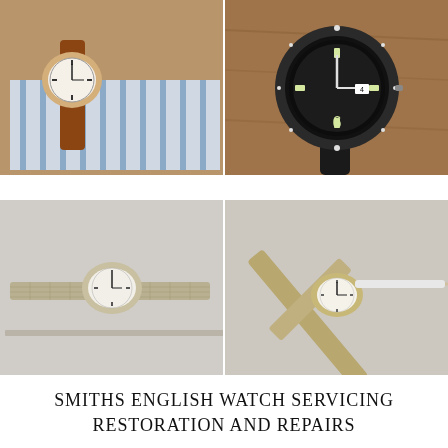[Figure (photo): Top-left photo: vintage wristwatch with brown leather strap lying on striped fabric, showing watch face from above]
[Figure (photo): Top-right photo: dark dial diver-style wristwatch with black bezel and black strap on a wooden surface, showing the watch face with luminous markers and a number 6]
[Figure (photo): Bottom-left photo: vintage ladies wristwatch with white dial and silver/gold mesh bracelet lying on a light surface]
[Figure (photo): Bottom-right photo: vintage wristwatch with white dial and gold mesh bracelet lying diagonally on a light surface with a pen nearby]
SMITHS ENGLISH WATCH SERVICING RESTORATION AND REPAIRS